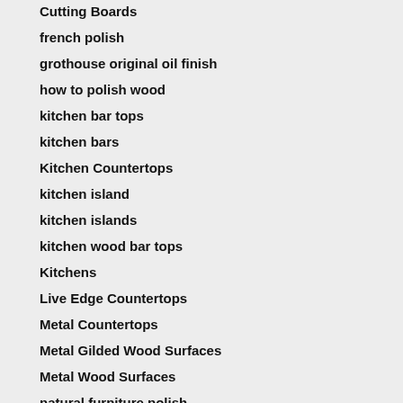Cutting Boards
french polish
grothouse original oil finish
how to polish wood
kitchen bar tops
kitchen bars
Kitchen Countertops
kitchen island
kitchen islands
kitchen wood bar tops
Kitchens
Live Edge Countertops
Metal Countertops
Metal Gilded Wood Surfaces
Metal Wood Surfaces
natural furniture polish
natural wood polish